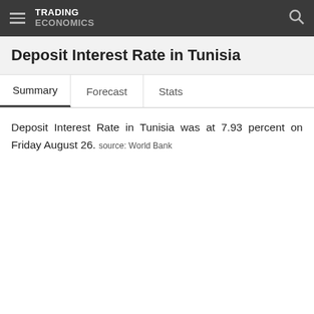TRADING ECONOMICS
Deposit Interest Rate in Tunisia
Summary   Forecast   Stats
Deposit Interest Rate in Tunisia was at 7.93 percent on Friday August 26. source: World Bank